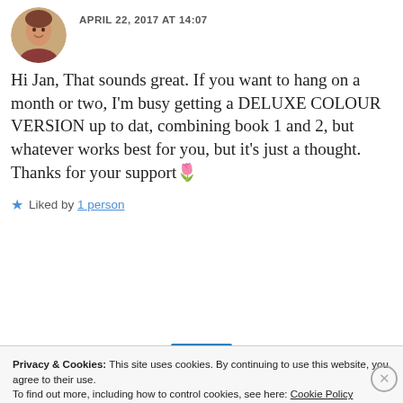APRIL 22, 2017 AT 14:07
Hi Jan, That sounds great. If you want to hang on a month or two, I'm busy getting a DELUXE COLOUR VERSION up to dat, combining book 1 and 2, but whatever works best for you, but it's just a thought. Thanks for your support 🌷
★ Liked by 1 person
Privacy & Cookies: This site uses cookies. By continuing to use this website, you agree to their use.
To find out more, including how to control cookies, see here: Cookie Policy
Close and accept